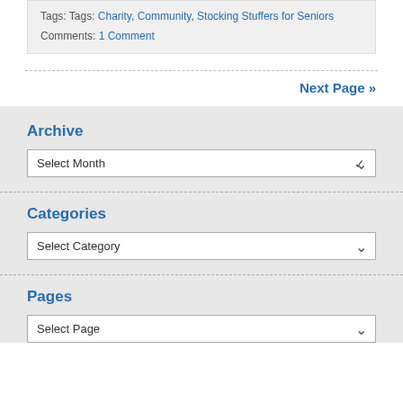Tags: Tags: Charity, Community, Stocking Stuffers for Seniors
Comments: 1 Comment
Next Page »
Archive
Select Month
Categories
Select Category
Pages
Select Page